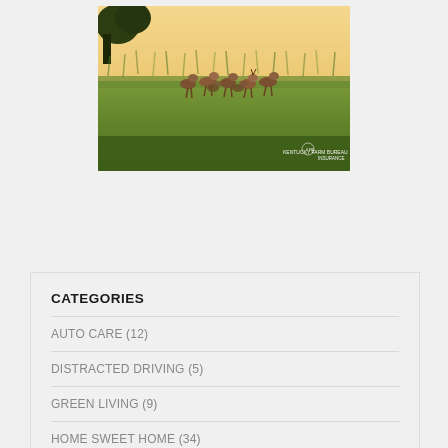[Figure (photo): A herd of deer running through a green field/meadow with golden sky background, with text overlay reading 'KENTUCKY FARM BUREAU INSURANCE' and a logo]
CATEGORIES
AUTO CARE (12)
DISTRACTED DRIVING (5)
GREEN LIVING (9)
HOME SWEET HOME (34)
RECREATION (15)
ROAD SAFETY (26)